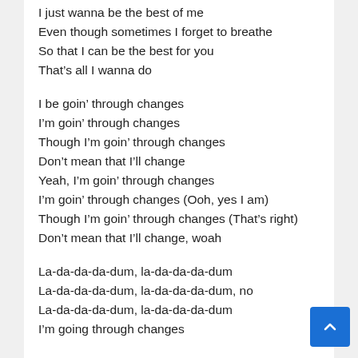I just wanna be the best of me
Even though sometimes I forget to breathe
So that I can be the best for you
That's all I wanna do
I be goin' through changes
I'm goin' through changes
Though I'm goin' through changes
Don't mean that I'll change
Yeah, I'm goin' through changes
I'm goin' through changes (Ooh, yes I am)
Though I'm goin' through changes (That's right)
Don't mean that I'll change, woah
La-da-da-da-dum, la-da-da-da-dum
La-da-da-da-dum, la-da-da-da-dum, no
La-da-da-da-dum, la-da-da-da-dum
I'm going through changes